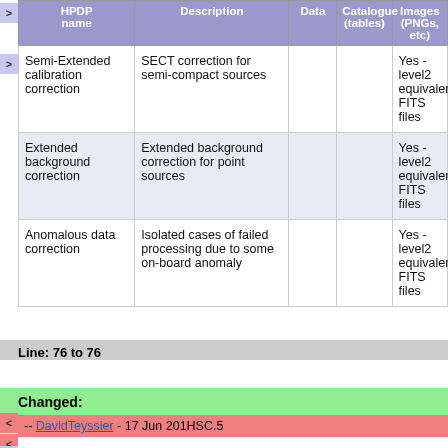| HPDP name | Description | Data | Catalogue (tables) | Images (PNGs, etc) |
| --- | --- | --- | --- | --- |
| Semi-Extended calibration correction | SECT correction for semi-compact sources |  |  | Yes - level2 equivalent FITS files |
| Extended background correction | Extended background correction for point sources |  |  | Yes - level2 equivalent FITS files |
| Anomalous data correction | Isolated cases of failed processing due to some on-board anomaly |  |  | Yes - level2 equivalent FITS files |
Line: 76 to 76
Changed:
-- DavidTeyssier - 17 Jun 201HSC.5
-- DavidTeyssier - 17 Jun 2015